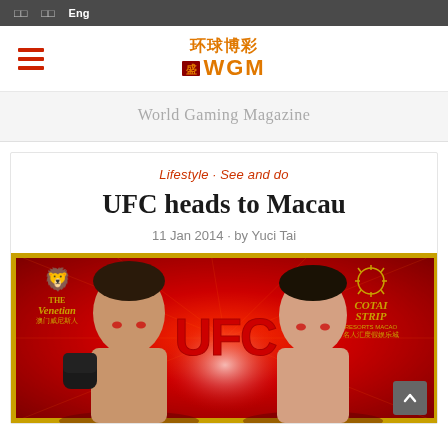□□  □□  Eng
[Figure (logo): WGM World Gaming Magazine logo with hamburger menu icon and Chinese characters 环球博彩]
World Gaming Magazine
Lifestyle · See and do
UFC heads to Macau
11 Jan 2014 · by Yuci Tai
[Figure (photo): UFC promotional image at The Venetian Cotai Strip Macau featuring two fighters on a red background with the UFC logo]